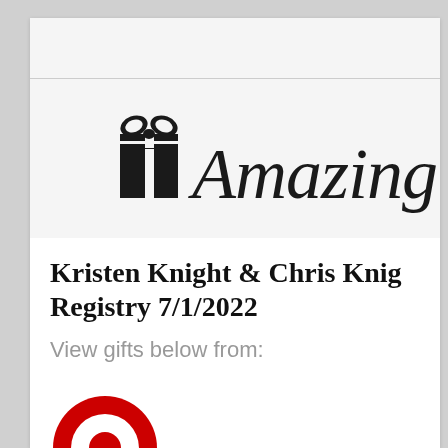[Figure (logo): Amazing Registry logo: a black gift box icon followed by 'Amazing R' in a cursive/script font, partially cropped at right edge]
Kristen Knight & Chris Knight Registry 7/1/2022
View gifts below from:
[Figure (logo): Target logo (red bullseye circles), partially visible, cropped at bottom of page]